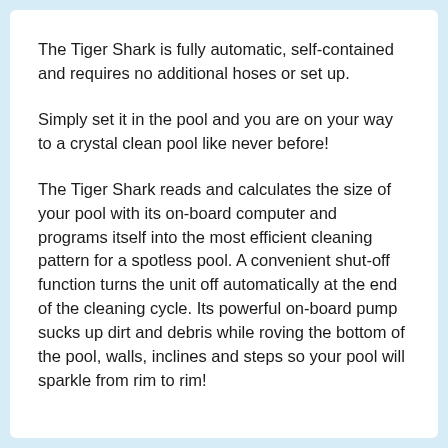The Tiger Shark is fully automatic, self-contained and requires no additional hoses or set up.
Simply set it in the pool and you are on your way to a crystal clean pool like never before!
The Tiger Shark reads and calculates the size of your pool with its on-board computer and programs itself into the most efficient cleaning pattern for a spotless pool. A convenient shut-off function turns the unit off automatically at the end of the cleaning cycle. Its powerful on-board pump sucks up dirt and debris while roving the bottom of the pool, walls, inclines and steps so your pool will sparkle from rim to rim!